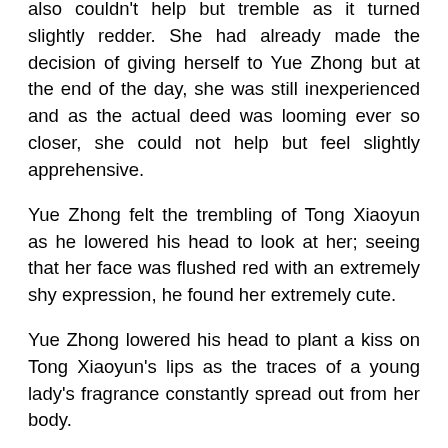also couldn't help but tremble as it turned slightly redder. She had already made the decision of giving herself to Yue Zhong but at the end of the day, she was still inexperienced and as the actual deed was looming ever so closer, she could not help but feel slightly apprehensive.
Yue Zhong felt the trembling of Tong Xiaoyun as he lowered his head to look at her; seeing that her face was flushed red with an extremely shy expression, he found her extremely cute.
Yue Zhong lowered his head to plant a kiss on Tong Xiaoyun's lips as the traces of a young lady's fragrance constantly spread out from her body.
Tong Xiaoyun's body froze after she was kissed by Yue Zhong. Only after a while did she stick out her tongue and intertwine it with Yue Zhong's.
Just as Yue Zhong and Tong Xiaoyun started making out, Gu Manzi, who was also wearing a white robe, walked in and